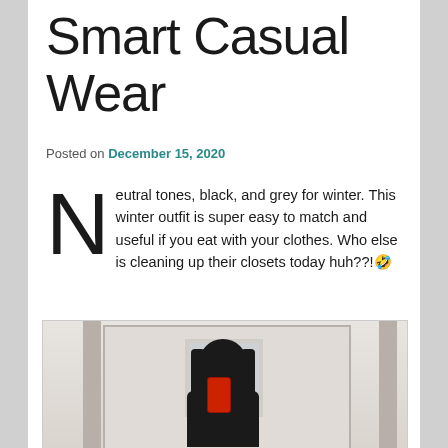Smart Casual Wear
Posted on December 15, 2020
Neutral tones, black, and grey for winter. This winter outfit is super easy to match and useful if you eat with your clothes. Who else is cleaning up their closets today huh??!🤣
[Figure (photo): Person taking a mirror selfie wearing a black blazer and yellow turtleneck, holding a red phone, with a smaller mirror reflected in the background]